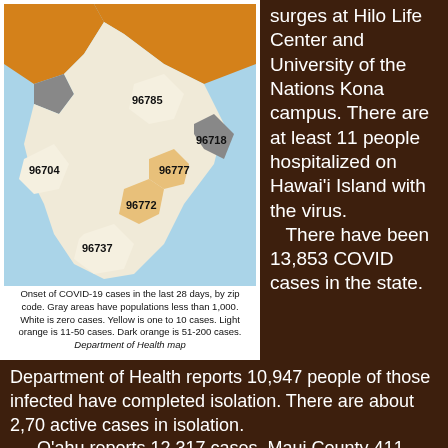[Figure (map): Map of Hawaii Island showing COVID-19 case onset in last 28 days by zip code. Zip codes labeled: 96704, 96785, 96777, 96772, 96737, 96718. Colors indicate case counts. Gray = population < 1,000, White = zero cases, Yellow = 1-10 cases, Light orange = 11-50 cases, Dark orange = 51-200 cases.]
Onset of COVID-19 cases in the last 28 days, by zip code. Gray areas have populations less than 1,000. White is zero cases. Yellow is one to 10 cases. Light orange is 11-50 cases. Dark orange is 51-200 cases. Department of Health map
surges at Hilo Life Center and University of the Nations Kona campus. There are at least 11 people hospitalized on Hawaiʻi Island with the virus. There have been 13,853 COVID cases in the state.
Department of Health reports 10,947 people of those infected have completed isolation. There are about 2,70 active cases in isolation.
Oʻahu reports 12,317 cases, Maui County 411, and Kauaʻi 59. Forty victims are residents diagnosed while out-of-state. Statewide, 988 people have been hospitalized since the pandemic began.
No new cases have been reported in the last 28 days for